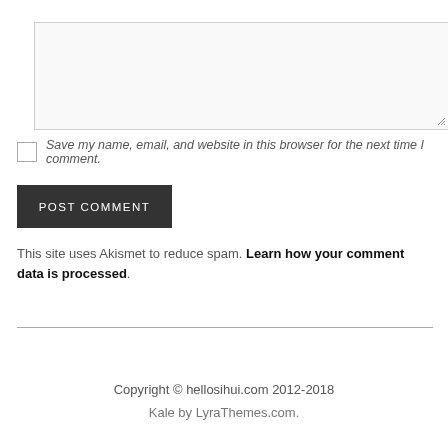[textarea input field]
Save my name, email, and website in this browser for the next time I comment.
POST COMMENT
This site uses Akismet to reduce spam. Learn how your comment data is processed.
Copyright © hellosihui.com 2012-2018
Kale by LyraThemes.com.